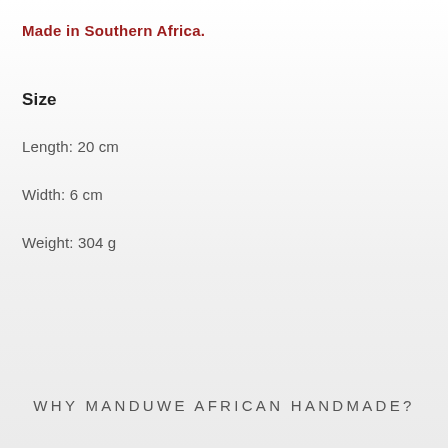Made in Southern Africa.
Size
Length: 20 cm
Width: 6 cm
Weight: 304 g
WHY MANDUWE AFRICAN HANDMADE?